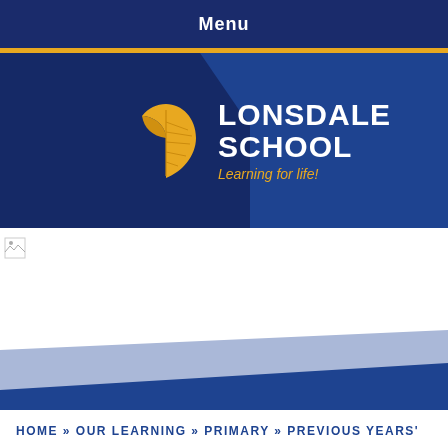Menu
[Figure (logo): Lonsdale School logo with golden leaf and school name text. Tagline: Learning for life!]
[Figure (photo): Broken image placeholder icon]
HOME » OUR LEARNING » PRIMARY » PREVIOUS YEARS'